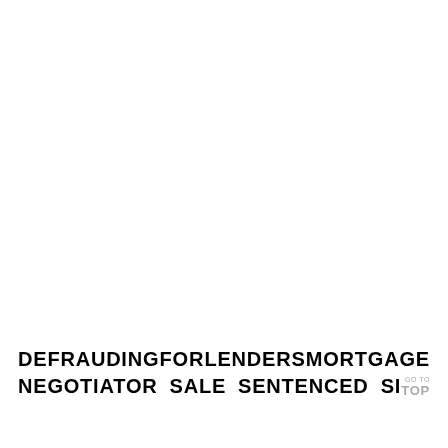DEFRAUDING FOR LENDERS MORTGAGE
NEGOTIATOR SALE SENTENCED SI
GO TO TOP